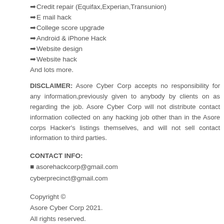➡Credit repair (Equifax,Experian,Transunion)
➡E mail hack
➡College score upgrade
➡Android & iPhone Hack
➡Website design
➡Website hack
And lots more.
DISCLAIMER: Asore Cyber Corp accepts no responsibility for any information,previously given to anybody by clients on as regarding the job. Asore Cyber Corp will not distribute contact information collected on any hacking job other than in the Asore corps Hacker's listings themselves, and will not sell contact information to third parties.
CONTACT INFO:
■ asorehackcorp@gmail.com
cyberprecinct@gmail.com
Copyright ©
Asore Cyber Corp 2021.
All rights reserved.